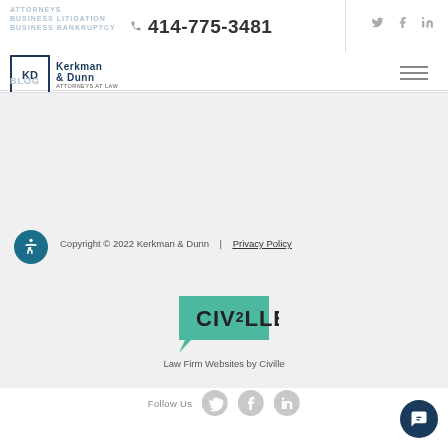ATTORNEYS | BUSINESS LITIGATION | BUSINESS BANKRUPTCY | BLOG
414-775-3481
[Figure (logo): Kerkman & Dunn Attorneys at Law logo with KD monogram in blue square]
Copyright © 2022 Kerkman & Dunn  |  Privacy Policy
[Figure (logo): Civille logo - teal speech bubble with CIVILLE text]
Law Firm Websites by Civille
Follow Us